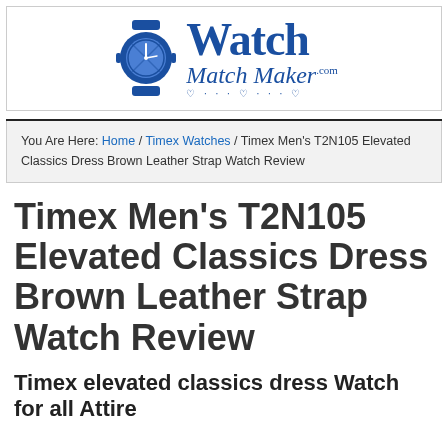[Figure (logo): WatchMatchMaker.com logo with blue watch icon and stylized text]
You Are Here: Home / Timex Watches / Timex Men's T2N105 Elevated Classics Dress Brown Leather Strap Watch Review
Timex Men's T2N105 Elevated Classics Dress Brown Leather Strap Watch Review
Timex elevated classics dress Watch for all Attire